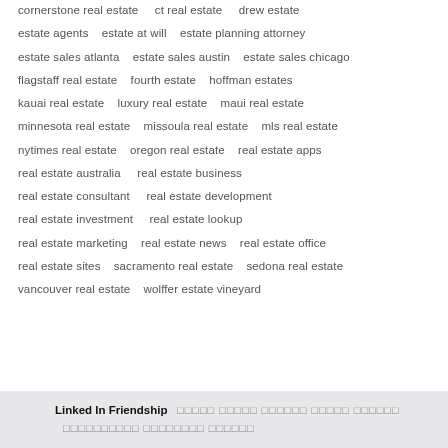cornerstone real estate    ct real estate    drew estate
estate agents    estate at will    estate planning attorney
estate sales atlanta    estate sales austin    estate sales chicago
flagstaff real estate    fourth estate    hoffman estates
kauai real estate    luxury real estate    maui real estate
minnesota real estate    missoula real estate    mls real estate
nytimes real estate    oregon real estate    real estate apps
real estate australia    real estate business
real estate consultant    real estate development
real estate investment    real estate lookup
real estate marketing    real estate news    real estate office
real estate sites    sacramento real estate    sedona real estate
vancouver real estate    wolffer estate vineyard
Linked In Friendship  [non-latin characters]